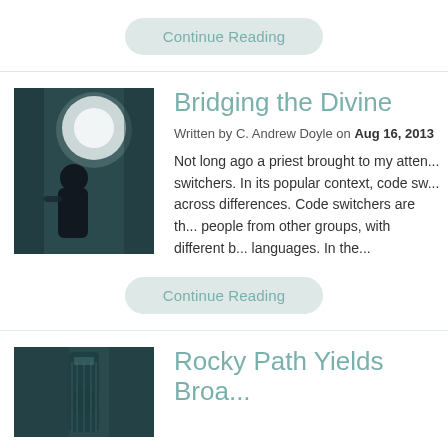Continue Reading
[Figure (photo): Dark photo of a person from behind with a bright stage light, appears to be a musician or performer on stage]
Bridging the Divine
Written by C. Andrew Doyle on Aug 16, 2013
Not long ago a priest brought to my atten... switchers. In its popular context, code sw... across differences. Code switchers are th... people from other groups, with different b... languages. In the...
Continue Reading
[Figure (photo): Dark teal-toned photo of a guitar or similar instrument, possibly a church or architectural setting]
Rocky Path Yields Broa...